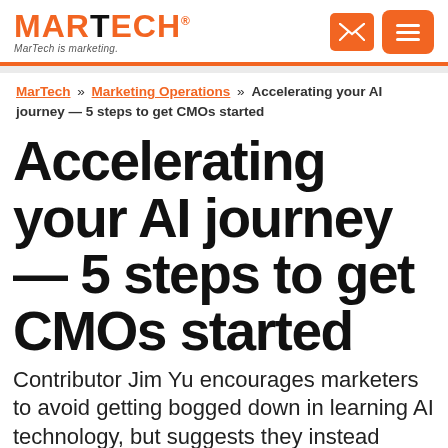MARTECH — MarTech is marketing.
MarTech » Marketing Operations » Accelerating your AI journey — 5 steps to get CMOs started
Accelerating your AI journey — 5 steps to get CMOs started
Contributor Jim Yu encourages marketers to avoid getting bogged down in learning AI technology, but suggests they instead